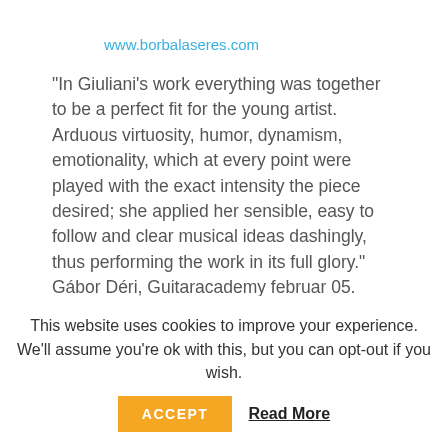www.borbalaseres.com
“In Giuliani’s work everything was together to be a perfect fit for the young artist. Arduous virtuosity, humor, dynamism, emotionality, which at every point were played with the exact intensity the piece desired; she applied her sensible, easy to follow and clear musical ideas dashingly, thus performing the work in its full glory.” Gábor Déri, Guitaracademy februar 05. 2012. Borbála Seres is an outstanding young talent among the leaders of the international music scene. It is a lesser known fact, that almost every single
This website uses cookies to improve your experience. We'll assume you're ok with this, but you can opt-out if you wish.
ACCEPT   Read More